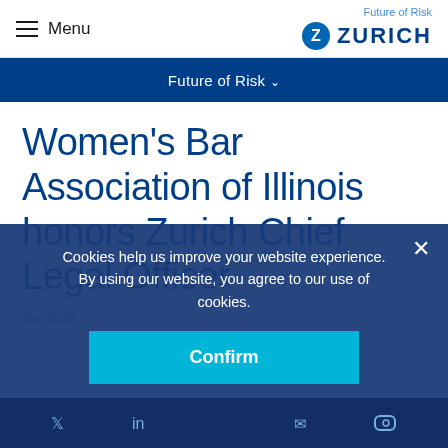Menu | Future of Risk | ZURICH
Future of Risk ∨
Women's Bar Association of Illinois honors Zurich Chief Legal Officer
Cookies help us improve your website experience. By using our website, you agree to our use of cookies.
Confirm
Social media icons: Twitter, LinkedIn, share, Instagram